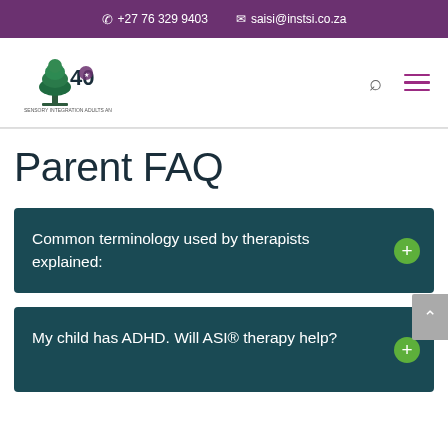+27 76 329 9403   saisi@instsi.co.za
[Figure (logo): SAISI logo with tree and 40th anniversary badge]
Parent FAQ
Common terminology used by therapists explained:
My child has ADHD. Will ASI® therapy help?